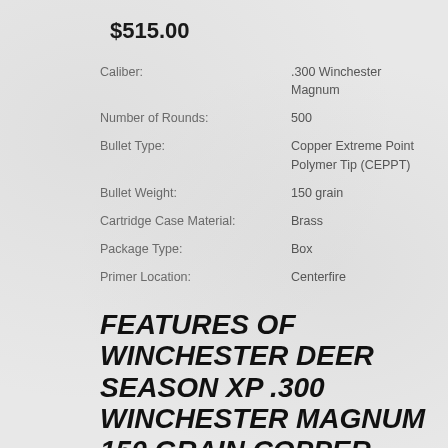$515.00
| Caliber: | .300 Winchester Magnum |
| Number of Rounds: | 500 |
| Bullet Type: | Copper Extreme Point Polymer Tip (CEPPT) |
| Bullet Weight: | 150 grain |
| Cartridge Case Material: | Brass |
| Package Type: | Box |
| Primer Location: | Centerfire |
FEATURES OF WINCHESTER DEER SEASON XP .300 WINCHESTER MAGNUM 150 GRAIN COPPER EXTREME POINT